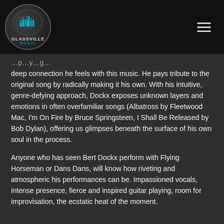[Figure (logo): Glassville Music logo: circular dark globe with cyan building silhouette, text GLASSVILLE MUSIC below]
deep connection he feels with this music. He pays tribute to the original song by radically making it his own. With his intuitive, genre-defying approach, Dockx exposes unknown layers and emotions in often overfamiliar songs (Albatross by Fleetwood Mac, I'm On Fire by Bruce Springsteen, I Shall Be Released by Bob Dylan), offering us glimpses beneath the surface of his own soul in the process.
Anyone who has seen Bert Dockx perform with Flying Horseman or Dans Dans, will know how riveting and atmospheric his performances can be. Impassioned vocals, intense presence, fierce and inspired guitar playing, room for improvisation, the ecstatic heat of the moment.